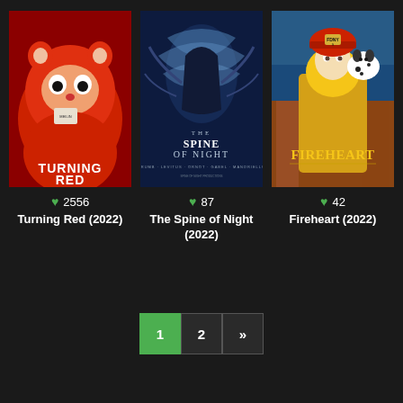[Figure (photo): Movie poster for Turning Red (2022) — animated red panda character with wide eyes wearing a badge, text 'TURNING RED' at bottom]
♥ 2556
Turning Red (2022)
[Figure (photo): Movie poster for The Spine of Night (2022) — dark fantasy figure with swirling blue-white energy, title 'THE SPINE OF NIGHT']
♥ 87
The Spine of Night (2022)
[Figure (photo): Movie poster for Fireheart (2022) — animated character in firefighter yellow gear with FDNY helmet and a dalmatian dog, title 'FIREHEART']
♥ 42
Fireheart (2022)
1
2
»